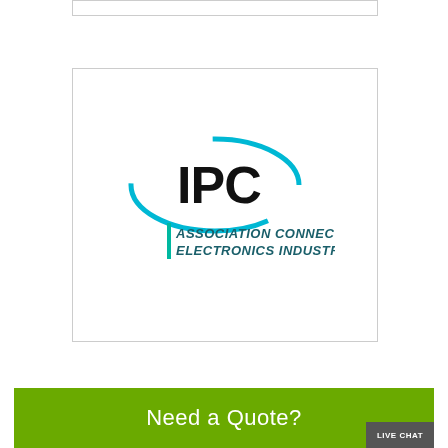[Figure (logo): IPC logo — bold black IPC text inside a cyan oval arc, with tagline 'ASSOCIATION CONNECTING ELECTRONICS INDUSTRIES®' below in dark teal italic text with a vertical bar accent]
Need a Quote?
LIVE CHAT